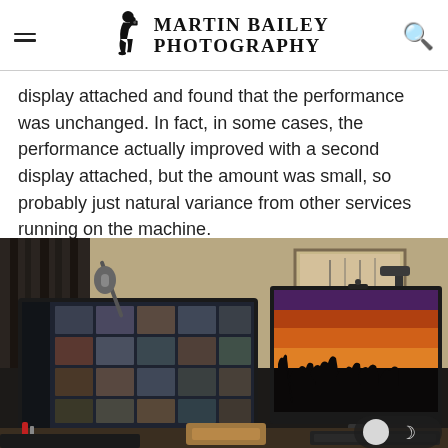Martin Bailey Photography
display attached and found that the performance was unchanged. In fact, in some cases, the performance actually improved with a second display attached, but the amount was small, so probably just natural variance from other services running on the machine.
[Figure (photo): Photography studio desk setup with two monitors — left monitor showing Adobe Lightroom grid of portrait photos, right monitor showing a dramatic silhouette photo of camels walking at sunset. Various equipment including a microphone, keyboard, and desk accessories visible.]